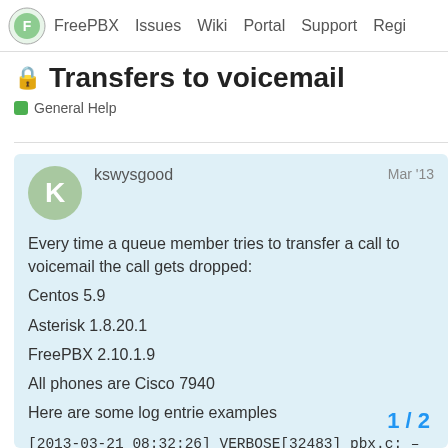FreePBX  Issues  Wiki  Portal  Support  Regi
🔒 Transfers to voicemail
General Help
kswysgood  Mar '13

Every time a queue member tries to transfer a call to voicemail the call gets dropped:
Centos 5.9
Asterisk 1.8.20.1
FreePBX 2.10.1.9
All phones are Cisco 7940
Here are some log entrie examples

[2013-03-21 08:32:26] VERBOSE[32483] pbx.c: – Executing [s@macro-exten-vm:12] ExecIf("SIP/WDC-00002d27","0?MacroExit()") in new stack
[2013-03-21 08:32:26] WARNING[32483]
1 / 2